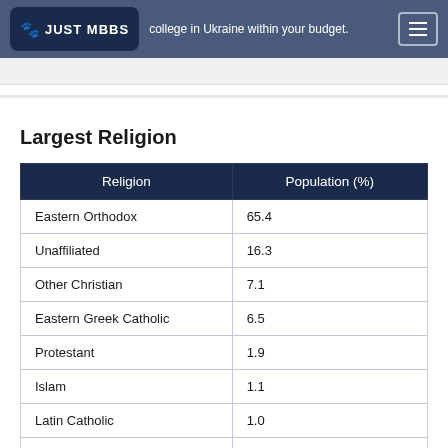JUST MBBS — college in Ukraine within your budget.
Largest Religion
| Religion | Population (%) |
| --- | --- |
| Eastern Orthodox | 65.4 |
| Unaffiliated | 16.3 |
| Other Christian | 7.1 |
| Eastern Greek Catholic | 6.5 |
| Protestant | 1.9 |
| Islam | 1.1 |
| Latin Catholic | 1.0 |
| Jew | 0.2 |